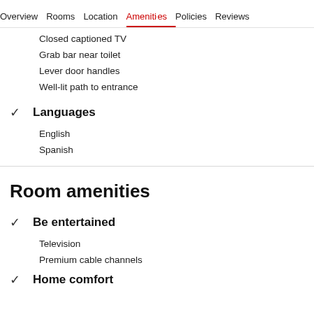Overview  Rooms  Location  Amenities  Policies  Reviews
Closed captioned TV
Grab bar near toilet
Lever door handles
Well-lit path to entrance
Languages
English
Spanish
Room amenities
Be entertained
Television
Premium cable channels
Home comfort